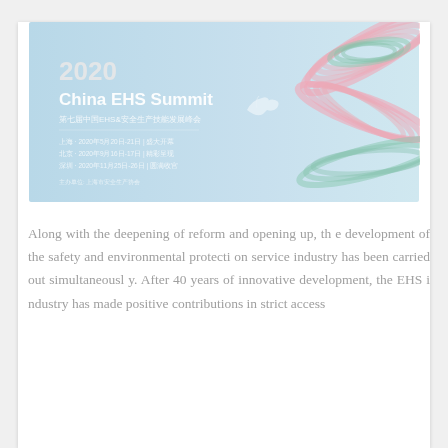[Figure (illustration): 2020 China EHS Summit banner image with light blue background, spiral decorative element in pink/green on the right, white text showing '2020 China EHS Summit' and Chinese characters with event details, and a small dove illustration.]
Along with the deepening of reform and opening up, the development of the safety and environmental protection service industry has been carried out simultaneously. After 40 years of innovative development, the EHS industry has made positive contributions in strict access